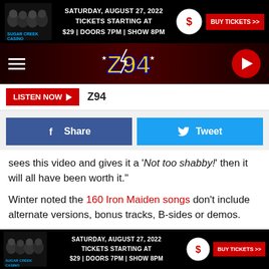[Figure (screenshot): Sugar Creek Casino advertisement banner: Saturday, August 27, 2022. Tickets starting at $29 | Doors 7PM | Show 8PM. BUY TICKETS >>]
[Figure (screenshot): Z94 radio station navigation bar with hamburger menu, Z94 logo, and red play button circle]
LISTEN NOW ► Z94
[Figure (screenshot): Social sharing buttons: Share (Facebook blue) and Tweet (Twitter blue)]
sees this video and gives it a 'Not too shabby!' then it will all have been worth it."
Winter noted the 160 Iron Maiden songs don't include alternate versions, bonus tracks, B-sides or demos.
Still, he said, "My playing changed forever the day I started jamming to Iron Maiden songs on my kit. [I'm] so proud and
[Figure (screenshot): Sugar Creek Casino advertisement banner at bottom: Saturday, August 27, 2022. Tickets starting at $29 | Doors 7PM | Show 8PM. BUY TICKETS >>]